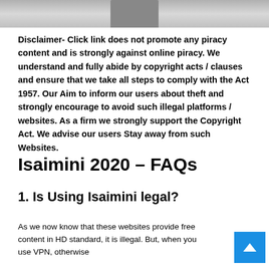[Figure (photo): Partial photo strip at top of page showing a figure in white against grey background]
Disclaimer- Click link does not promote any piracy content and is strongly against online piracy. We understand and fully abide by copyright acts / clauses and ensure that we take all steps to comply with the Act 1957. Our Aim to inform our users about theft and strongly encourage to avoid such illegal platforms / websites. As a firm we strongly support the Copyright Act. We advise our users Stay away from such Websites.
Isaimini 2020 – FAQs
1. Is Using Isaimini legal?
As we now know that these websites provide free content in HD standard, it is illegal. But, when you use VPN, otherwise